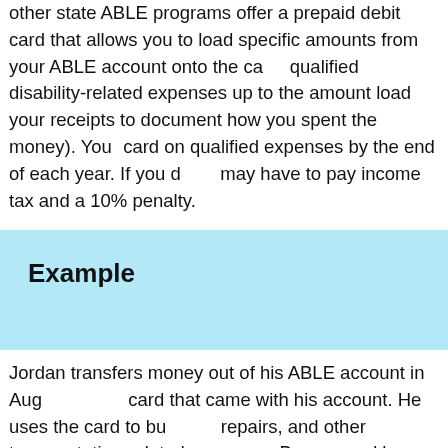other state ABLE programs offer a prepaid debit card that allows you to load specific amounts from your ABLE account onto the card. You can use it for qualified disability-related expenses up to the amount loaded (and you should save your receipts to document how you spent the money). You must spend money on the card on qualified expenses by the end of each year. If you don't, you may have to pay income tax and a 10% penalty.
Example
Jordan transfers money out of his ABLE account in August onto a debit card that came with his account. He uses the card to buy gas, car repairs, and other transportation-related expenses. But fall comes and he uses his car a lot less. By December, he still has money on the debit card. Before the end of the year, Jordan must spend it on a qualified disability expense or he may have to pay the income tax and penalty.